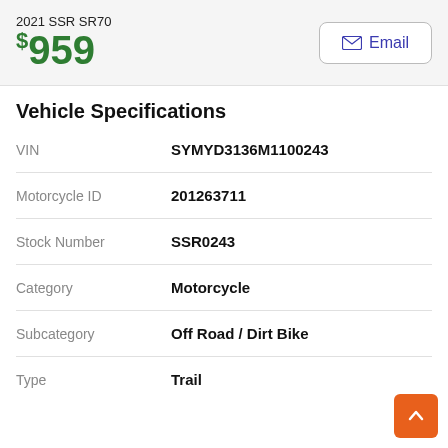2021 SSR SR70 $959
Vehicle Specifications
| Field | Value |
| --- | --- |
| VIN | SYMYD3136M1100243 |
| Motorcycle ID | 201263711 |
| Stock Number | SSR0243 |
| Category | Motorcycle |
| Subcategory | Off Road / Dirt Bike |
| Type | Trail |